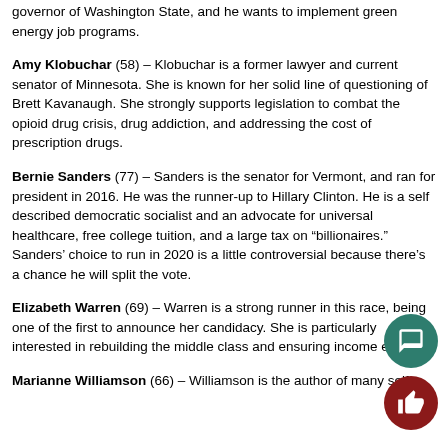governor of Washington State, and he wants to implement green energy job programs.
Amy Klobuchar (58) – Klobuchar is a former lawyer and current senator of Minnesota. She is known for her solid line of questioning of Brett Kavanaugh. She strongly supports legislation to combat the opioid drug crisis, drug addiction, and addressing the cost of prescription drugs.
Bernie Sanders (77) – Sanders is the senator for Vermont, and ran for president in 2016. He was the runner-up to Hillary Clinton. He is a self described democratic socialist and an advocate for universal healthcare, free college tuition, and a large tax on “billionaires.” Sanders’ choice to run in 2020 is a little controversial because there’s a chance he will split the vote.
Elizabeth Warren (69) – Warren is a strong runner in this race, being one of the first to announce her candidacy. She is particularly interested in rebuilding the middle class and ensuring income equality!
Marianne Williamson (66) – Williamson is the author of many self...